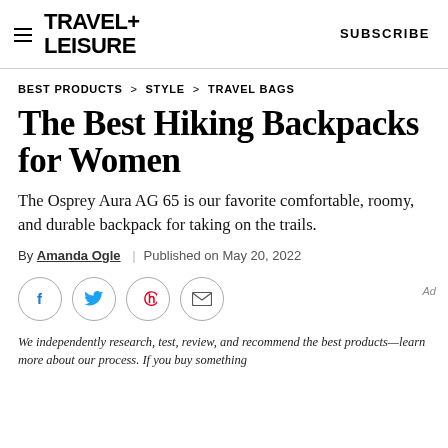TRAVEL+ LEISURE   SUBSCRIBE
BEST PRODUCTS > STYLE > TRAVEL BAGS
The Best Hiking Backpacks for Women
The Osprey Aura AG 65 is our favorite comfortable, roomy, and durable backpack for taking on the trails.
By Amanda Ogle | Published on May 20, 2022
[Figure (other): Social sharing icons: Facebook, Twitter, Pinterest, Email]
We independently research, test, review, and recommend the best products—learn more about our process. If you buy something